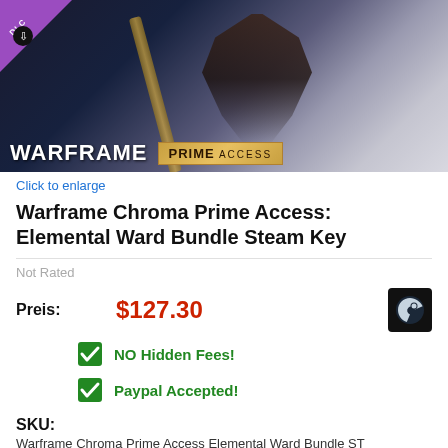[Figure (photo): Warframe Chroma Prime Access promotional image showing armored warframe figure holding a weapon, with DLC badge in top-left corner and Warframe / Prime Access logos at bottom]
Click to enlarge
Warframe Chroma Prime Access: Elemental Ward Bundle Steam Key
Not Rated
Preis: $127.30
NO Hidden Fees!
Paypal Accepted!
SKU:
Warframe Chroma Prime Access Elemental Ward Bundle ST